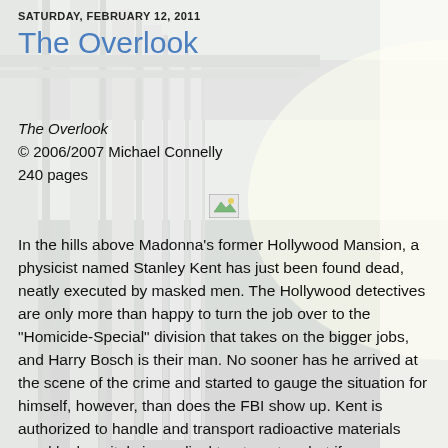SATURDAY, FEBRUARY 12, 2011
The Overlook
[Figure (photo): Photograph of a classical colonnade with tall white columns receding into the distance, bright light at the end of the corridor.]
The Overlook
© 2006/2007 Michael Connelly
240 pages
[Figure (illustration): Small broken image placeholder icon]
In the hills above Madonna's former Hollywood Mansion, a physicist named Stanley Kent has just been found dead, neatly executed by masked men. The Hollywood detectives are only more than happy to turn the job over to the "Homicide-Special" division that takes on the bigger jobs, and Harry Bosch is their man. No sooner has he arrived at the scene of the crime and started to gauge the situation for himself, however, than does the FBI show up. Kent is authorized to handle and transport radioactive materials used by hospitals in medical treatments -- but if someone used him to steal those materials and then killed him to take care of a loose end, it's a fair bet that the killers aren't out to